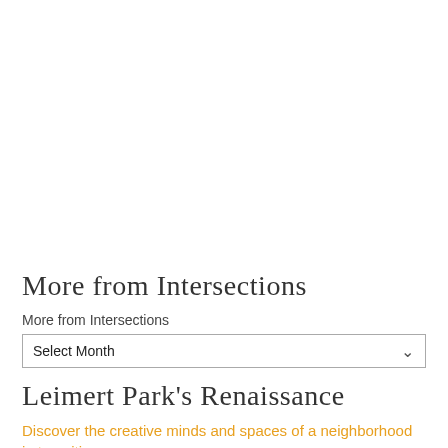More from Intersections
More from Intersections
Select Month
Leimert Park's Renaissance
Discover the creative minds and spaces of a neighborhood in transition.